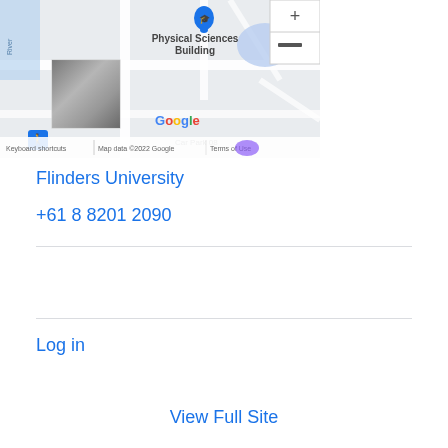[Figure (map): Google Maps showing Physical Sciences Building at Flinders University campus with zoom controls, map pin, street view icon, aerial thumbnail overlay, Google logo, and info bar with keyboard shortcuts and map data copyright.]
Flinders University
+61 8 8201 2090
Log in
View Full Site